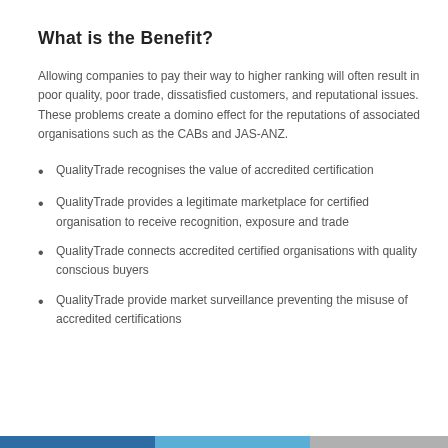What is the Benefit?
Allowing companies to pay their way to higher ranking will often result in poor quality, poor trade, dissatisfied customers, and reputational issues. These problems create a domino effect for the reputations of associated organisations such as the CABs and JAS-ANZ.
QualityTrade recognises the value of accredited certification
QualityTrade provides a legitimate marketplace for certified organisation to receive recognition, exposure and trade
QualityTrade connects accredited certified organisations with quality conscious buyers
QualityTrade provide market surveillance preventing the misuse of accredited certifications